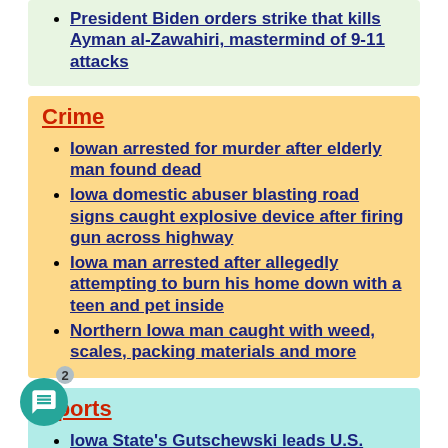President Biden orders strike that kills Ayman al-Zawahiri, mastermind of 9-11 attacks
Crime
Iowan arrested for murder after elderly man found dead
Iowa domestic abuser blasting road signs caught explosive device after firing gun across highway
Iowa man arrested after allegedly attempting to burn his home down with a teen and pet inside
Northern Iowa man caught with weed, scales, packing materials and more
Sports
Iowa State's Gutschewski leads U.S. Amateur Golf Tournament into match play
Former Trojan Brandon Williamson one step away from major leagues